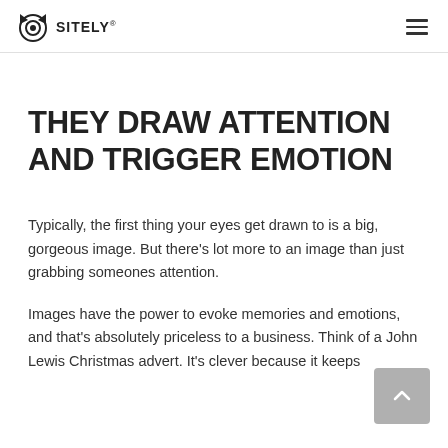SITELY
THEY DRAW ATTENTION AND TRIGGER EMOTION
Typically, the first thing your eyes get drawn to is a big, gorgeous image. But there's lot more to an image than just grabbing someones attention.
Images have the power to evoke memories and emotions, and that's absolutely priceless to a business. Think of a John Lewis Christmas advert. It's clever because it keeps